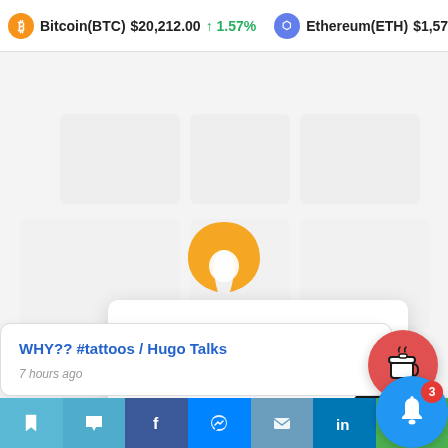Bitcoin(BTC) $20,212.00 ↑1.57% Ethereum(ETH) $1,576.56
[Figure (screenshot): Background blurred webpage content with light gray geometric shapes]
[Figure (logo): Orange circular logo/icon in center of background]
Thank you for visiting. You can now buy me a coffee!
[Figure (illustration): Red circular button with coffee cup icon]
WHY?? #tattoos / Hugo Talks
7 hours ago
[Figure (infographic): Bottom share bar with bookmark, comment, Facebook, Messenger, email, LinkedIn icons and blue notification bell with red badge showing 3]